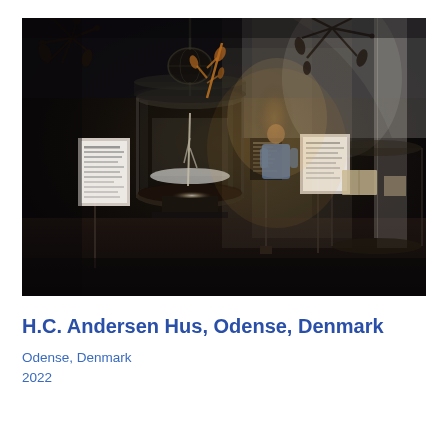[Figure (photo): Interior of H.C. Andersen Hus museum in Odense, Denmark. Dark atmospheric shot showing glass cylindrical display cases with illuminated objects inside, metallic sculptural elements on the ceiling resembling plant forms, museum exhibition stands with text panels, and a person visible in the background near a bright window. The museum floor is dark and the overall mood is dramatic with warm backlighting.]
H.C. Andersen Hus, Odense, Denmark
Odense, Denmark
2022